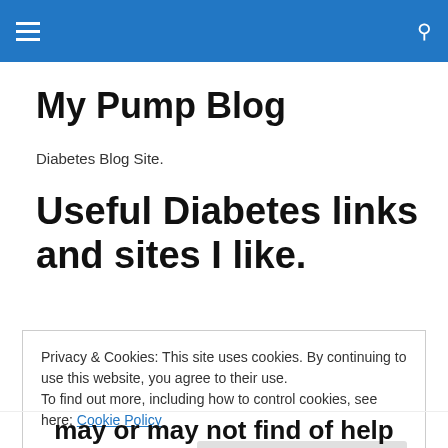My Pump Blog — navigation bar
My Pump Blog
Diabetes Blog Site.
Useful Diabetes links and sites I like.
Privacy & Cookies: This site uses cookies. By continuing to use this website, you agree to their use.
To find out more, including how to control cookies, see here: Cookie Policy
[Close and accept]
may or may not find of help